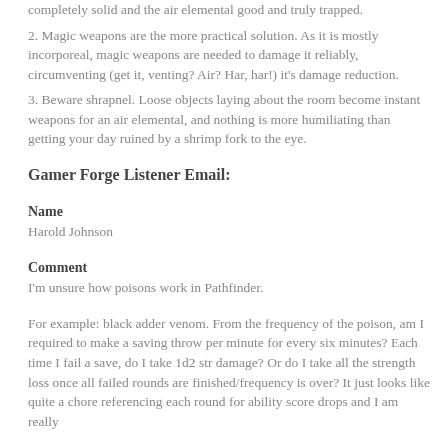completely solid and the air elemental good and truly trapped.
2. Magic weapons are the more practical solution. As it is mostly incorporeal, magic weapons are needed to damage it reliably, circumventing (get it, venting? Air? Har, har!) it's damage reduction.
3. Beware shrapnel. Loose objects laying about the room become instant weapons for an air elemental, and nothing is more humiliating than getting your day ruined by a shrimp fork to the eye.
Gamer Forge Listener Email:
Name
Harold Johnson
Comment
I'm unsure how poisons work in Pathfinder.
For example: black adder venom. From the frequency of the poison, am I required to make a saving throw per minute for every six minutes? Each time I fail a save, do I take 1d2 str damage? Or do I take all the strength loss once all failed rounds are finished/frequency is over? It just looks like quite a chore referencing each round for ability score drops and I am really